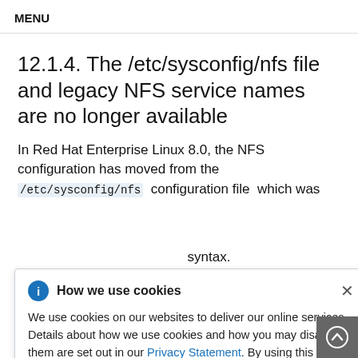MENU
12.1.4. The /etc/sysconfig/nfs file and legacy NFS service names are no longer available
In Red Hat Enterprise Linux 8.0, the NFS configuration has moved from the /etc/sysconfig/nfs configuration file, which was
[Figure (screenshot): Cookie consent dialog overlay with title 'How we use cookies', info icon, close button, and text about cookie usage with a Privacy Statement link. Partially overlaying the main document text.]
/etc/sysconfig/nfs to /etc/nfs.com when